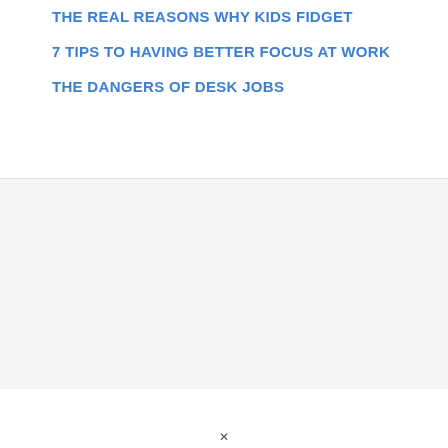THE REAL REASONS WHY KIDS FIDGET
7 TIPS TO HAVING BETTER FOCUS AT WORK
THE DANGERS OF DESK JOBS